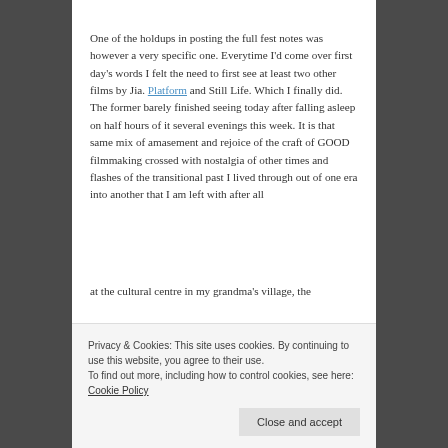One of the holdups in posting the full fest notes was however a very specific one. Everytime I'd come over first day's words I felt the need to first see at least two other films by Jia. Platform and Still Life. Which I finally did. The former barely finished seeing today after falling asleep on half hours of it several evenings this week. It is that same mix of amasement and rejoice of the craft of GOOD filmmaking crossed with nostalgia of other times and flashes of the transitional past I lived through out of one era into another that I am left with after all
at the cultural centre in my grandma's village, the
Privacy & Cookies: This site uses cookies. By continuing to use this website, you agree to their use.
To find out more, including how to control cookies, see here: Cookie Policy